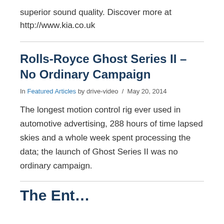superior sound quality. Discover more at http://www.kia.co.uk
Rolls-Royce Ghost Series II – No Ordinary Campaign
In Featured Articles by drive-video / May 20, 2014
The longest motion control rig ever used in automotive advertising, 288 hours of time lapsed skies and a whole week spent processing the data; the launch of Ghost Series II was no ordinary campaign.
The En…